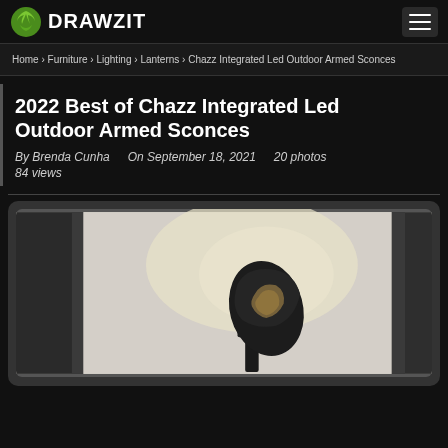DRAWZIT
Home › Furniture › Lighting › Lanterns › Chazz Integrated Led Outdoor Armed Sconces
2022 Best of Chazz Integrated Led Outdoor Armed Sconces
By Brenda Cunha   On September 18, 2021   20 photos   84 views
[Figure (photo): Photo of a Chazz Integrated LED outdoor armed sconce mounted on a wall near a dark-framed door. The sconce is a modern black cylindrical fixture with a curved shield, mounted on a wall between the door and wall.]